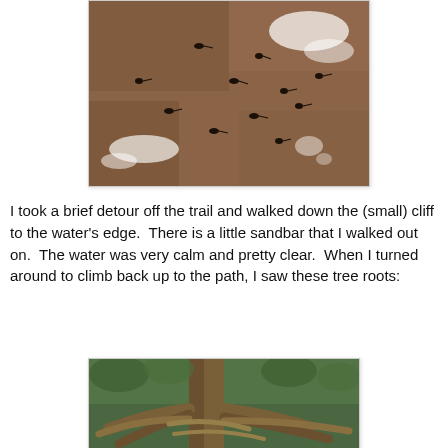[Figure (photo): Close-up photo of muddy shallow water with tadpoles visible on a brown sandy/muddy substrate, with some white reflections/ripples on the water surface]
I took a brief detour off the trail and walked down the (small) cliff to the water's edge.  There is a little sandbar that I walked out on.  The water was very calm and pretty clear.  When I turned around to climb back up to the path, I saw these tree roots:
[Figure (photo): Photo of large tree roots exposed above ground, with green foliage visible in the background, showing an intricate network of surface roots at the base of a large tree]